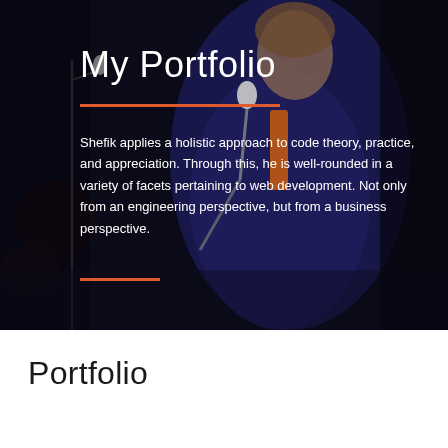[Figure (photo): A man in a dark blue metallic blazer with an orange tie, holding a microphone, performing on stage with drum kit visible in background. Dark stage lighting.]
My Portfolio
Shefik applies a holistic approach to code theory, practice, and appreciation. Through this, he is well-rounded in a variety of facets pertaining to web development. Not only from an engineering perspective, but from a business perspective.
Portfolio